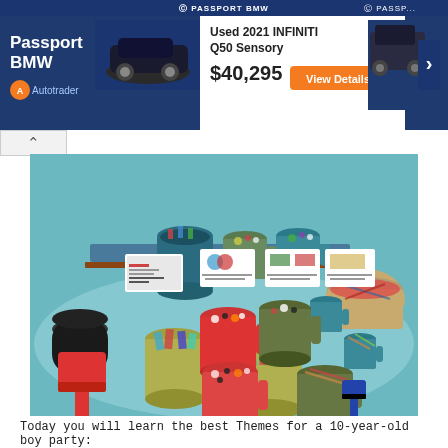[Figure (screenshot): Passport BMW advertisement banner on Autotrader showing a Used 2021 INFINITI Q50 Sensory priced at $40,295 with a View Details button and car images]
[Figure (photo): A party candy/snack table display with multiple colorful buckets (red, green, teal, yellow) filled with various candies, small label cards, and a red toy shovel on a teal tablecloth]
Today you will learn the best Themes for a 10-year-old boy party: